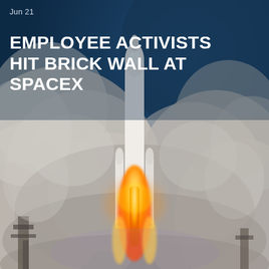[Figure (photo): A SpaceX Falcon Heavy rocket launching with massive plumes of smoke and fire below, against a blue sky background. The rocket is mid-liftoff with dramatic exhaust clouds filling the lower portion of the image.]
Jun 21
EMPLOYEE ACTIVISTS HIT BRICK WALL AT SPACEX